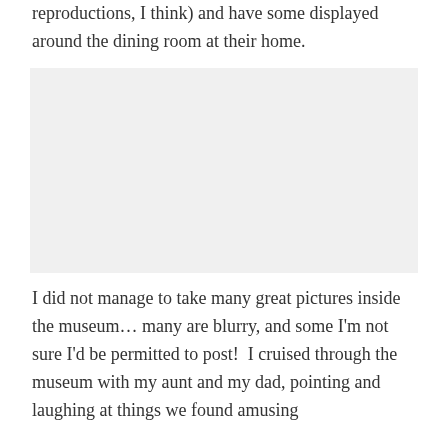reproductions, I think) and have some displayed around the dining room at their home.
[Figure (photo): A large light gray rectangular placeholder image, likely a photograph from inside a museum or related to the described visit.]
I did not manage to take many great pictures inside the museum… many are blurry, and some I'm not sure I'd be permitted to post!  I cruised through the museum with my aunt and my dad, pointing and laughing at things we found amusing